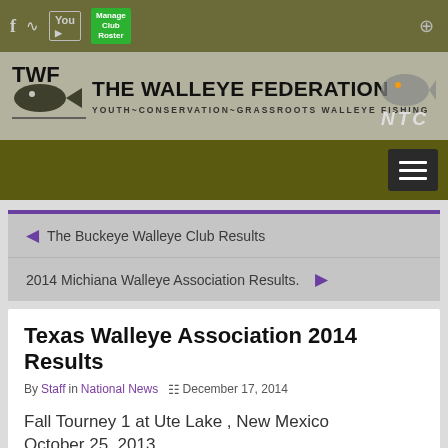The Walleye Federation — YOUTH~CONSERVATION~GRASSROOTS WALLEYE FISHING
The Buckeye Walleye Club Results
2014 Michiana Walleye Association Results.
Texas Walleye Association 2014 Results
By Staff in National News  December 17, 2014
Fall Tourney 1 at Ute Lake , New Mexico October 25, 2013